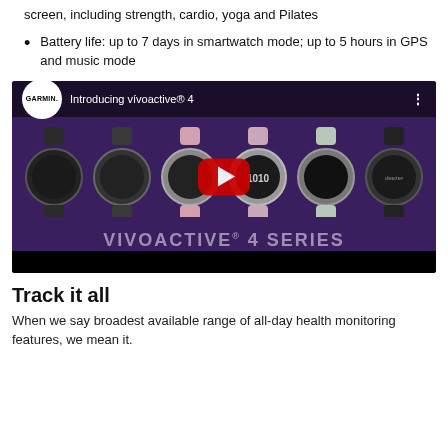screen, including strength, cardio, yoga and Pilates
Battery life: up to 7 days in smartwatch mode; up to 5 hours in GPS and music mode
[Figure (screenshot): YouTube video thumbnail for 'Introducing vívoactive® 4' by Garmin, showing six Garmin vívoactive 4 smartwatches in various colors on a purple background with a red YouTube play button. Text at bottom reads 'VIVOACTIVE® 4 SERIES'.]
Track it all
When we say broadest available range of all-day health monitoring features, we mean it.